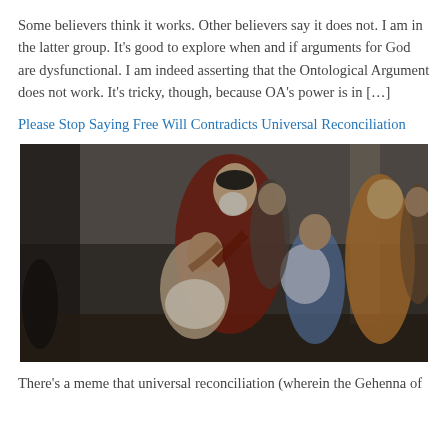Some believers think it works. Other believers say it does not. I am in the latter group. It's good to explore when and if arguments for God are dysfunctional. I am indeed asserting that the Ontological Argument does not work. It's tricky, though, because OA's power is in […]
Please Stop Saying Free Will Contradicts Universal Reconciliation
[Figure (photo): Classical oil painting depicting the Return of the Prodigal Son — an elderly bearded man in red robes embraces a kneeling young man, surrounded by several onlookers including a man in yellow-ochre robes on the right.]
There's a meme that universal reconciliation (wherein the Gehenna of